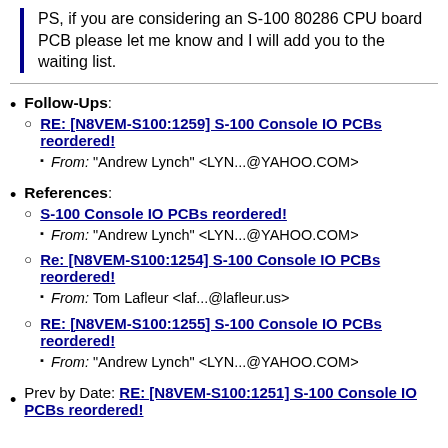PS, if you are considering an S-100 80286 CPU board PCB please let me know and I will add you to the waiting list.
Follow-Ups: RE: [N8VEM-S100:1259] S-100 Console IO PCBs reordered! From: "Andrew Lynch" <LYN...@YAHOO.COM>
References: S-100 Console IO PCBs reordered! From: "Andrew Lynch" <LYN...@YAHOO.COM>
Re: [N8VEM-S100:1254] S-100 Console IO PCBs reordered! From: Tom Lafleur <laf...@lafleur.us>
RE: [N8VEM-S100:1255] S-100 Console IO PCBs reordered! From: "Andrew Lynch" <LYN...@YAHOO.COM>
Prev by Date: RE: [N8VEM-S100:1251] S-100 Console IO PCBs reordered!